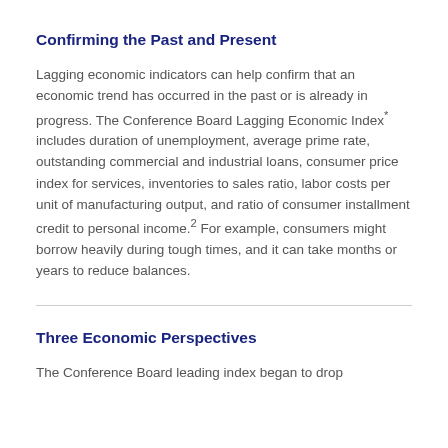Confirming the Past and Present
Lagging economic indicators can help confirm that an economic trend has occurred in the past or is already in progress. The Conference Board Lagging Economic Index* includes duration of unemployment, average prime rate, outstanding commercial and industrial loans, consumer price index for services, inventories to sales ratio, labor costs per unit of manufacturing output, and ratio of consumer installment credit to personal income.2 For example, consumers might borrow heavily during tough times, and it can take months or years to reduce balances.
Three Economic Perspectives
The Conference Board leading index began to drop